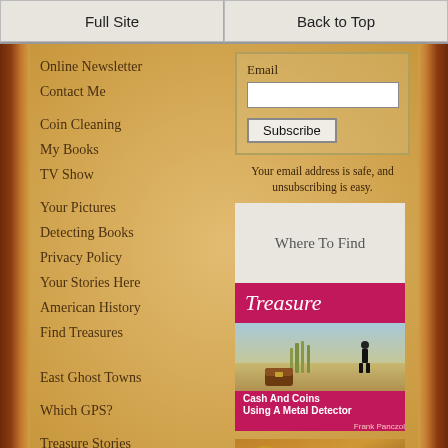Full Site | Back to Top
Online Newsletter
Contact Me
Coin Cleaning
My Books
TV Show
Your Pictures
Detecting Books
Privacy Policy
Your Stories Here
American History
Find Treasures
East Ghost Towns
Which GPS?
Treasure Stories
Affiliate Policy
Email
Subscribe
Your email address is safe, and unsubscribing is easy.
[Figure (illustration): Book cover: Where To Find Treasure - Cash And Coins Using A Metal Detector by Frank Panczol]
[Figure (illustration): Book cover: 5 Way's to Earn Mo... (partially visible)]